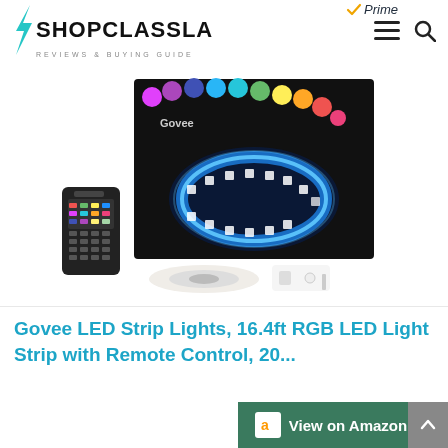SHOPCLASSLA — REVIEWS & BUYING GUIDE
[Figure (photo): Govee LED Strip Lights product photo showing colorful RGB LED strip coiled on a spool with a 44-key remote control, a wireless controller, and a dark background package box displaying rainbow LED colors. Product is the Govee LED Strip Lights 16.4ft RGB with Remote Control.]
Govee LED Strip Lights, 16.4ft RGB LED Light Strip with Remote Control, 20...
[Figure (logo): Amazon Prime badge with checkmark and 'Prime' in italic text]
View on Amazon